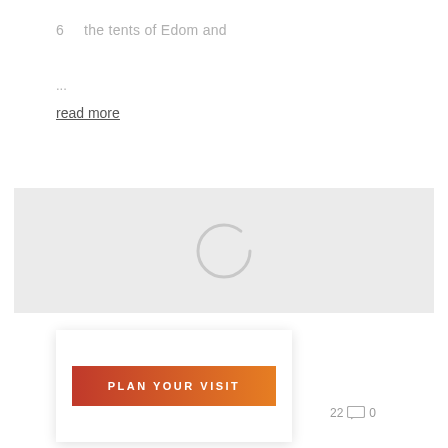6    the tents of Edom and
...
read more
[Figure (other): Loading spinner — a light gray circular ring on a light gray background, indicating a loading/pending state]
[Figure (other): White card overlay with a gradient red-to-orange button labeled PLAN YOUR VISIT in white uppercase letters, partially overlapping a gray image placeholder. Below are a comment icon and the number 0.]